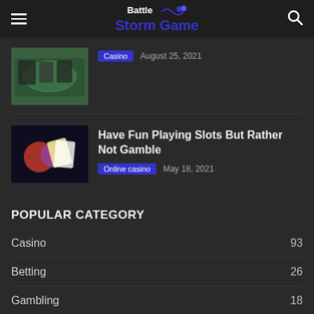Battle Storm Game
[Figure (photo): Casino table scene with players]
Casino  August 25, 2021
[Figure (photo): Casino chips and cards for slots article]
Have Fun Playing Slots But Rather Not Gamble
Online casino  May 18, 2021
POPULAR CATEGORY
Casino  93
Betting  26
Gambling  18
Online casino  10
Poker  6